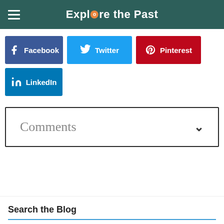Explore the Past
[Figure (screenshot): Social share buttons: Facebook (blue), Twitter (light blue), Pinterest (red), LinkedIn (blue)]
Comments
Search the Blog